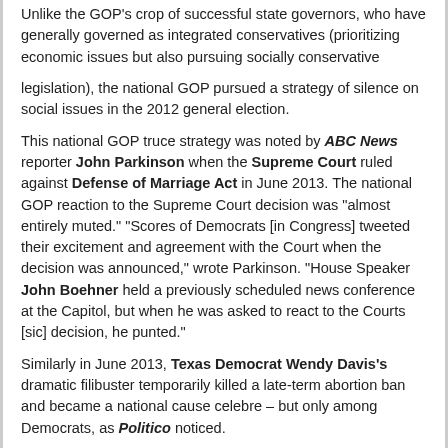Unlike the GOP's crop of successful state governors, who have generally governed as integrated conservatives (prioritizing economic issues but also pursuing socially conservative legislation), the national GOP pursued a strategy of silence on social issues in the 2012 general election.
This national GOP truce strategy was noted by ABC News reporter John Parkinson when the Supreme Court ruled against Defense of Marriage Act in June 2013. The national GOP reaction to the Supreme Court decision was "almost entirely muted." "Scores of Democrats [in Congress] tweeted their excitement and agreement with the Court when the decision was announced," wrote Parkinson. "House Speaker John Boehner held a previously scheduled news conference at the Capitol, but when he was asked to react to the Courts [sic] decision, he punted."
Similarly in June 2013, Texas Democrat Wendy Davis's dramatic filibuster temporarily killed a late-term abortion ban and became a national cause celebre – but only among Democrats, as Politico noticed.
Democrats from President Obama down publicly supported Davis, while national Republican leadership "hasn't latched onto the fight," wrote Politico author David Nathers. "Few national Republicans have weighed in. And a key party official in Texas acknowledged there's no behind-the-scenes help coming, though he says he doesn't need it. Republicans will talk about the abortion bill when they're asked about it,